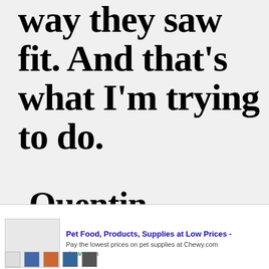way they saw fit. And that's what I'm trying to do.
-Quentin Tarantino
[Figure (infographic): Advertisement banner for Chewy.com pet food and supplies with infolinks badge, product image placeholder, ad title, description, URL, close button, and forward arrow button]